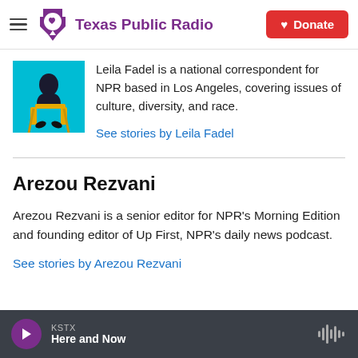[Figure (logo): Texas Public Radio logo with purple Texas shape and speech bubble icon, and 'Texas Public Radio' text in purple]
Leila Fadel is a national correspondent for NPR based in Los Angeles, covering issues of culture, diversity, and race.
See stories by Leila Fadel
Arezou Rezvani
Arezou Rezvani is a senior editor for NPR's Morning Edition and founding editor of Up First, NPR's daily news podcast.
See stories by Arezou Rezvani
KSTX Here and Now